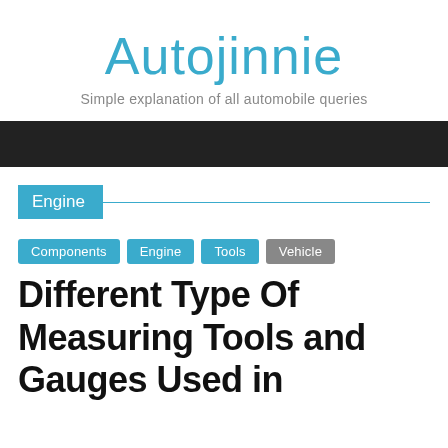Autojinnie
Simple explanation of all automobile queries
Engine
Components
Engine
Tools
Vehicle
Different Type Of Measuring Tools and Gauges Used in